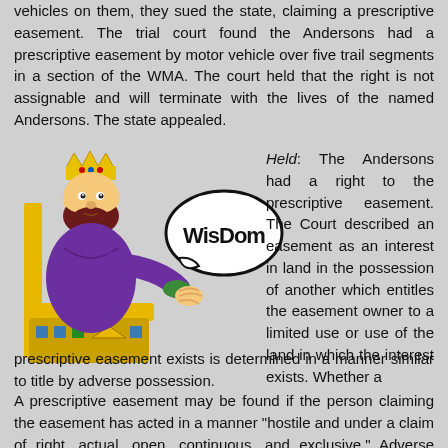vehicles on them, they sued the state, claiming a prescriptive easement. The trial court found the Andersons had a prescriptive easement by motor vehicle over five trail segments in a section of the WMA. The court held that the right is not assignable and will terminate with the lives of the named Andersons. The state appealed.
[Figure (illustration): Cartoon illustration of a king sitting on a throne, wearing a gold crown and purple robe, holding a speech bubble that says WISDOM in bold letters.]
Held: The Andersons had a right to the prescriptive easement. The Court described an easement as an interest in land in the possession of another which entitles the easement owner to a limited use or use of the land in which the interest exists. Whether a prescriptive easement exists is determined in a manner similar to title by adverse possession.
A prescriptive easement may be found if the person claiming the easement has acted in a manner "hostile and under a claim of right, actual, open, continuous, and exclusive." Adverse possession may be